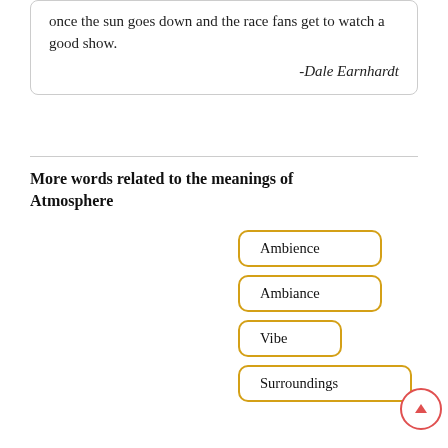once the sun goes down and the race fans get to watch a good show.

-Dale Earnhardt
More words related to the meanings of Atmosphere
Ambience
Ambiance
Vibe
Surroundings